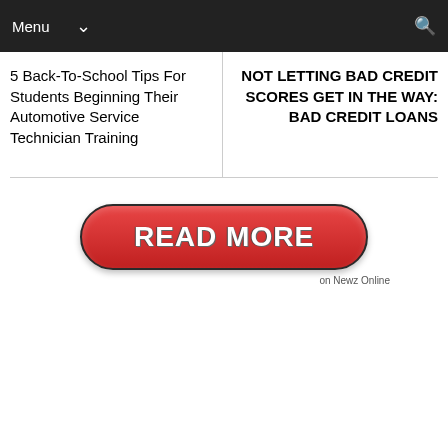Menu
5 Back-To-School Tips For Students Beginning Their Automotive Service Technician Training
NOT LETTING BAD CREDIT SCORES GET IN THE WAY: BAD CREDIT LOANS
[Figure (other): Red READ MORE button with rounded rectangle shape and dark border, with 'on Newz Online' text below]
on Newz Online